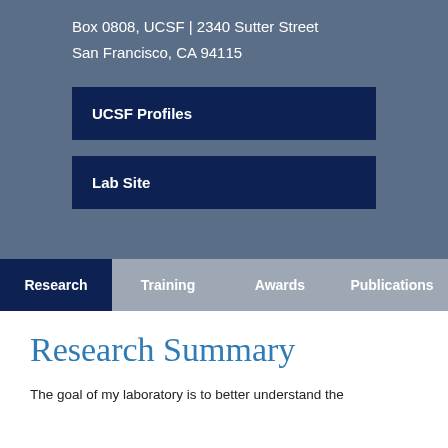Box 0808, UCSF | 2340 Sutter Street
San Francisco, CA 94115
UCSF Profiles
Lab Site
Research  Training  Awards  Publications
Research Summary
The goal of my laboratory is to better understand the